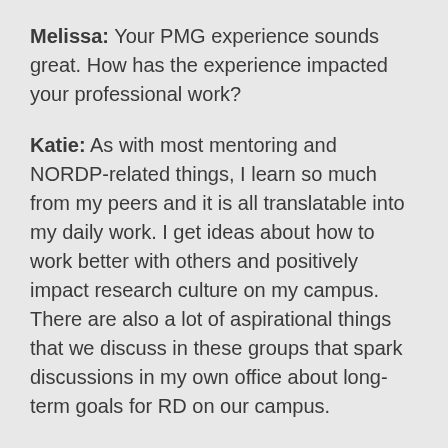Melissa: Your PMG experience sounds great. How has the experience impacted your professional work?
Katie: As with most mentoring and NORDP-related things, I learn so much from my peers and it is all translatable into my daily work. I get ideas about how to work better with others and positively impact research culture on my campus. There are also a lot of aspirational things that we discuss in these groups that spark discussions in my own office about long-term goals for RD on our campus.
Melissa: The PMGs are currently open for sign-up. Any words to those who are